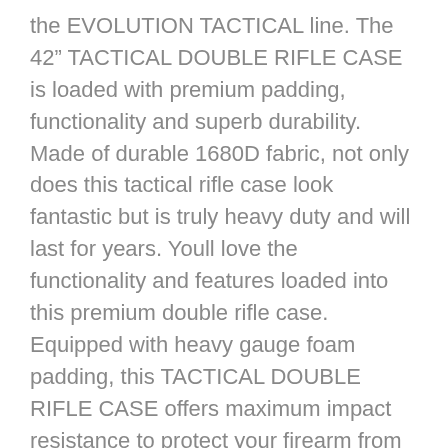the EVOLUTION TACTICAL line. The 42" TACTICAL DOUBLE RIFLE CASE is loaded with premium padding, functionality and superb durability. Made of durable 1680D fabric, not only does this tactical rifle case look fantastic but is truly heavy duty and will last for years. Youll love the functionality and features loaded into this premium double rifle case. Equipped with heavy gauge foam padding, this TACTICAL DOUBLE RIFLE CASE offers maximum impact resistance to protect your firearm from damage and is designed with hook and loop tie down straps to secure your firearm. It also has a large hook and loop front panel for plenty of patches. This tactical case is loaded with great features which include 3 zippered pockets on front, Paracord zipper pulls, MOLLE webbing on front, and an adjustable, removable shoulder strop